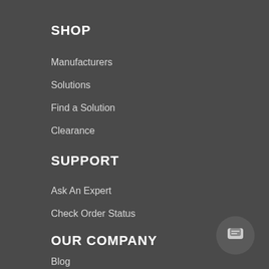SHOP
Manufacturers
Solutions
Find a Solution
Clearance
SUPPORT
Ask An Expert
Check Order Status
OUR COMPANY
Blog
About Us